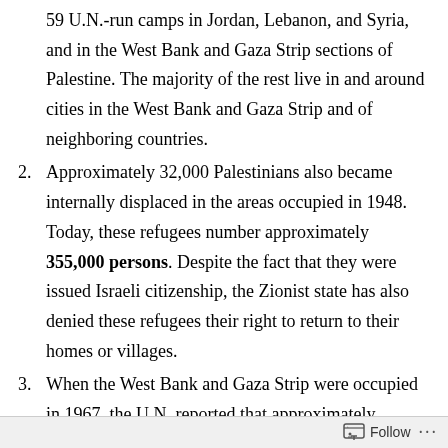59 U.N.-run camps in Jordan, Lebanon, and Syria, and in the West Bank and Gaza Strip sections of Palestine. The majority of the rest live in and around cities in the West Bank and Gaza Strip and of neighboring countries.
Approximately 32,000 Palestinians also became internally displaced in the areas occupied in 1948. Today, these refugees number approximately 355,000 persons. Despite the fact that they were issued Israeli citizenship, the Zionist state has also denied these refugees their right to return to their homes or villages.
When the West Bank and Gaza Strip were occupied in 1967, the U.N. reported that approximately 200,000 Palestinians fled their homes. These 1967 refugees and their descendants today number about 834,000
Follow